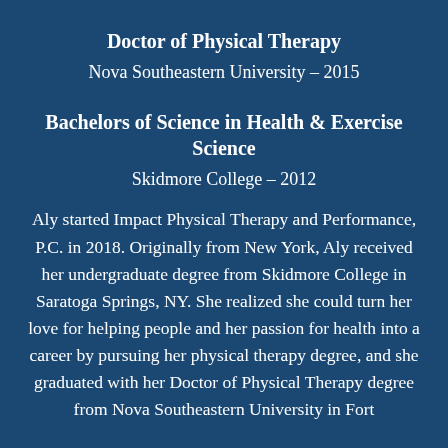Doctor of Physical Therapy
Nova Southeastern University – 2015
Bachelors of Science in Health & Exercise Science
Skidmore College – 2012
Aly started Impact Physical Therapy and Performance, P.C. in 2018. Originally from New York, Aly received her undergraduate degree from Skidmore College in Saratoga Springs, NY. She realized she could turn her love for helping people and her passion for health into a career by pursuing her physical therapy degree, and she graduated with her Doctor of Physical Therapy degree from Nova Southeastern University in Fort